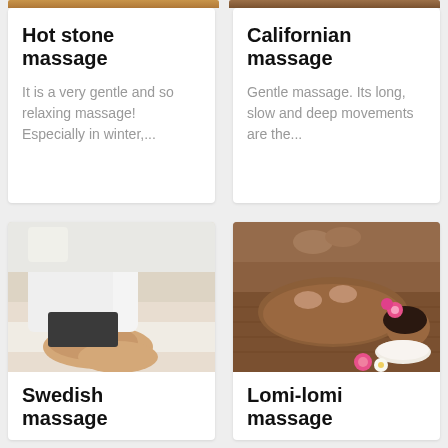Hot stone massage
It is a very gentle and so relaxing massage! Especially in winter,...
Californian massage
Gentle massage. Its long, slow and deep movements are the...
[Figure (photo): Massage therapist working on client's legs/feet, light clinical background]
Swedish massage
[Figure (photo): Woman lying down receiving back massage with pink flower in hair, flowers on wooden surface]
Lomi-lomi massage